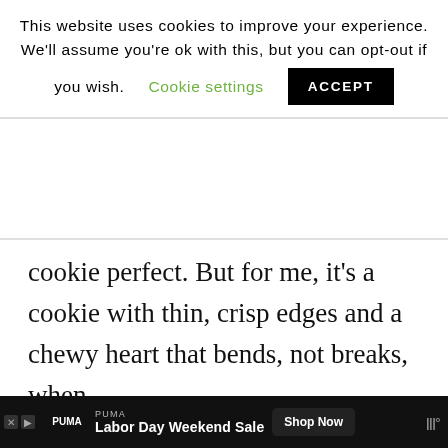This website uses cookies to improve your experience. We'll assume you're ok with this, but you can opt-out if you wish. Cookie settings ACCEPT
cookie perfect. But for me, it's a cookie with thin, crisp edges and a chewy heart that bends, not breaks, when…
READ MORE
2
Filed Under: Cookies, Desserts
Tagged With: peanut butter cookies
[Figure (screenshot): PUMA advertisement banner: 'PUMA Labor Day Weekend Sale' with Shop Now button on dark background]